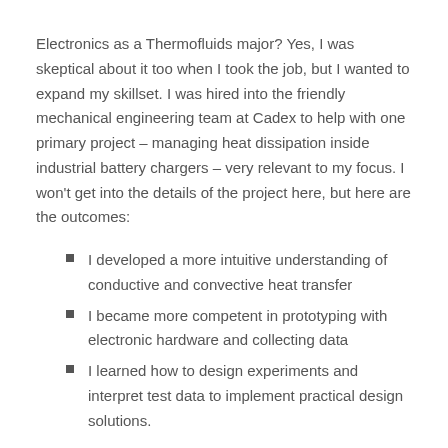Electronics as a Thermofluids major? Yes, I was skeptical about it too when I took the job, but I wanted to expand my skillset. I was hired into the friendly mechanical engineering team at Cadex to help with one primary project – managing heat dissipation inside industrial battery chargers – very relevant to my focus. I won't get into the details of the project here, but here are the outcomes:
I developed a more intuitive understanding of conductive and convective heat transfer
I became more competent in prototyping with electronic hardware and collecting data
I learned how to design experiments and interpret test data to implement practical design solutions.
These are transferrable technical experiences that will help me with my Capstone project (future blog).